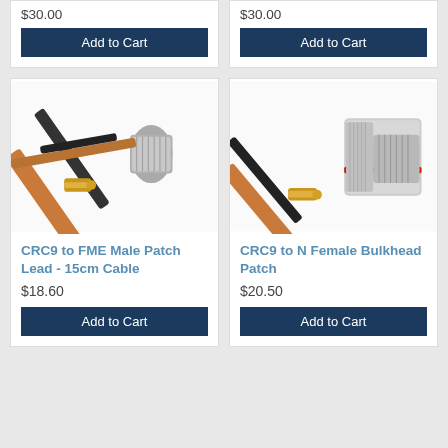$30.00
Add to Cart
$30.00
Add to Cart
[Figure (photo): CRC9 to FME Male Patch Lead cable with angled connectors on brown/black cable]
CRC9 to FME Male Patch Lead - 15cm Cable
$18.60
Add to Cart
[Figure (photo): CRC9 to N Female Bulkhead Patch cable with angled connector and bulkhead fitting]
CRC9 to N Female Bulkhead Patch
$20.50
Add to Cart